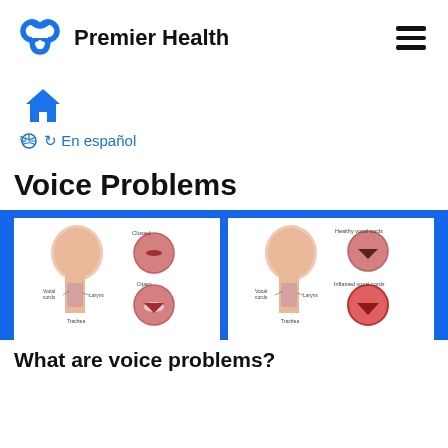Premier Health
[Figure (logo): Premier Health logo with blue infinity/loop icon and bold text 'Premier Health']
[Figure (illustration): Blue home/house icon used as navigation breadcrumb]
En español
Voice Problems
[Figure (illustration): Medical illustration showing anatomy of vocal cords with 'Closed' and 'Open' states, labeled with Larynx, Trachea, and Vocal cords]
[Figure (illustration): Medical illustration showing anatomy of vocal cords with 'Healthy vocal cords' and 'Inflamed vocal cords' states, labeled with Larynx, Trachea, and Vocal cords]
What are voice problems?